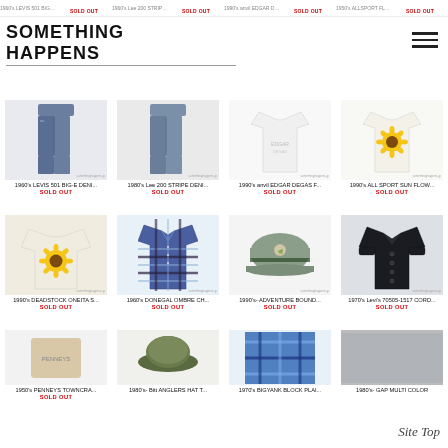1960's LEVIS 501 BIG-E DENI... SOLD OUT | 1960's Lee 200 STRIPE DENI... SOLD OUT | 1990's anvil EDGAR DEGAS F... SOLD OUT | 1950's ALL SPORT SUN FLOW... SOLD OUT
SOMETHING HAPPENS
[Figure (photo): Product listing grid - Row 1: 1960's LEVIS 501 BIG-E DENIM jeans photo, 1980's Lee 200 STRIPE DENIM jeans photo, 1990's anvil EDGAR DEGAS white tee photo, 1990's ALL SPORT SUN FLOWER white tee with sunflower photo]
1960's LEVIS 501 BIG-E DENI...
SOLD OUT
1980's Lee 200 STRIPE DENI...
SOLD OUT
1990's anvil EDGAR DEGAS F...
SOLD OUT
1990's ALL SPORT SUN FLOW...
SOLD OUT
[Figure (photo): Product listing grid - Row 2: 1990's DEADSTOCK ONEITA sunflower sweatshirt, 1960's DONEGAL OMBRE plaid flannel shirt, 1990's ADVENTURE BOUND cap, 1970's Levi's 70505-1517 CORD jacket]
1990's DEADSTOCK ONEITA S...
SOLD OUT
1960's DONEGAL OMBRE CH...
SOLD OUT
1990's- ADVENTURE BOUND...
SOLD OUT
1970's Levi's 70505-1517 CORD...
SOLD OUT
[Figure (photo): Product listing grid - Row 3: 1950's PENNEYS TOWNCRAFT item, 1980's- Bitt ANGLERS HAT partial, 1970's BIGYANK BLOCK PLAI partial]
1950's PENNEYS TOWNCRA...
SOLD OUT
1980's- Bitt ANGLERS HAT T...
1970's BIGYANK BLOCK PLAI...
1980's- GAP MULTI COLOR
Site Top